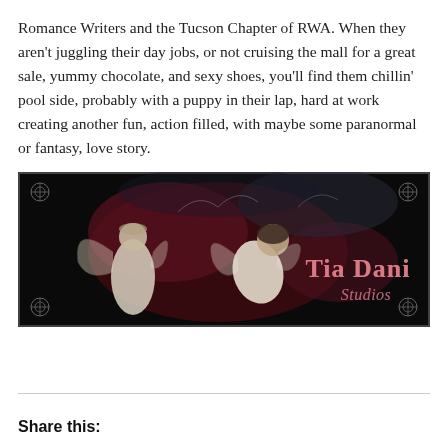Romance Writers and the Tucson Chapter of RWA. When they aren't juggling their day jobs, or not cruising the mall for a great sale, yummy chocolate, and sexy shoes, you'll find them chillin' pool side, probably with a puppy in their lap, hard at work creating another fun, action filled, with maybe some paranormal or fantasy, love story.
[Figure (illustration): Dark fantasy banner image showing two fairy-like female figures in white dresses with wings against a dark background, with red fabric elements. Text reads 'Tia Dani Studios' on the right side in decorative pink/white lettering. Ornate corner decorations in the border.]
Share this: